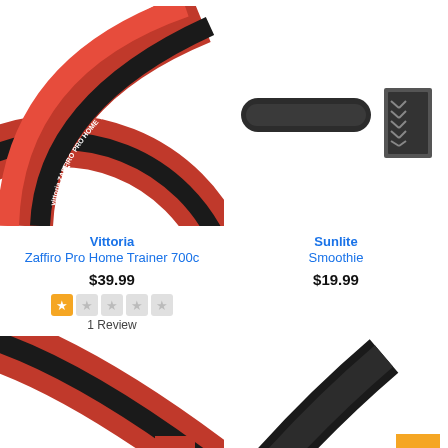[Figure (photo): Red and black Vittoria Zaffiro Pro Home Trainer 700c bicycle tire, curved side-on view]
[Figure (photo): Black Sunlite Smoothie bicycle tire shown from two angles: side profile and tread pattern]
Vittoria
Zaffiro Pro Home Trainer 700c
Sunlite
Smoothie
$39.99
$19.99
1 Review
[Figure (photo): Partial bottom view of red and black bicycle tire (bottom-left product)]
[Figure (photo): Partial bottom view of black bicycle tire curved top (bottom-right product), with orange scroll-to-top button]